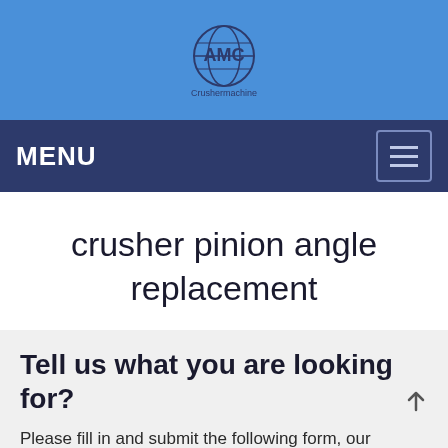[Figure (logo): AMC Crusher logo - globe icon with AMC text and 'Crushermachine' subtitle on blue background]
MENU
crusher pinion angle replacement
Tell us what you are looking for?
Please fill in and submit the following form, our service team will contact you as soon as possible and provide a complete solution.